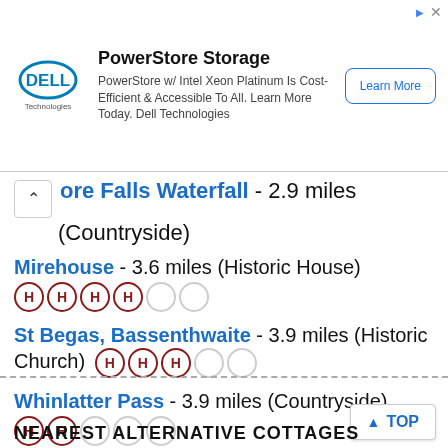[Figure (infographic): Dell Technologies advertisement banner for PowerStore Storage with Intel Xeon Platinum, featuring Learn More button]
ore Falls Waterfall - 2.9 miles (Countryside)
Mirehouse - 3.6 miles (Historic House) — 4 out of 5 rating
St Begas, Bassenthwaite - 3.9 miles (Historic Church) — 3 out of 5 rating
Whinlatter Pass - 3.9 miles (Countryside) — 2 out of 5 rating
NEAREST ALTERNATIVE COTTAGES